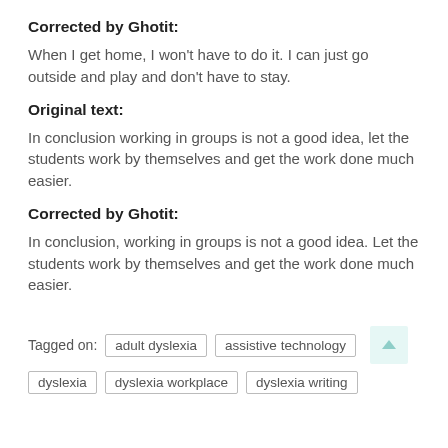Corrected by Ghotit:
When I get home, I won't have to do it. I can just go outside and play and don't have to stay.
Original text:
In conclusion working in groups is not a good idea, let the students work by themselves and get the work done much easier.
Corrected by Ghotit:
In conclusion, working in groups is not a good idea. Let the students work by themselves and get the work done much easier.
Tagged on:  adult dyslexia  assistive technology  dyslexia  dyslexia workplace  dyslexia writing